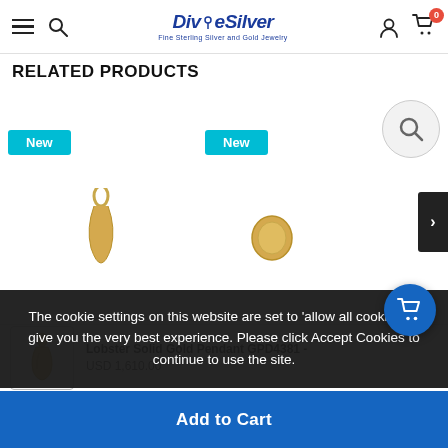DiveSilver - Fine Sterling Silver and Gold Jewelry
RELATED PRODUCTS
[Figure (screenshot): Product listing area showing two product cards with 'New' badges, gold jewelry pendants, and a magnifier circle icon in top right]
The cookie settings on this website are set to ‘allow all cookies’ to give you the very best experience. Please click Accept Cookies to continue to use the site.
Lobster Solid Gold Pendant GPD4381 -
USD 1,610.00
Add to Cart